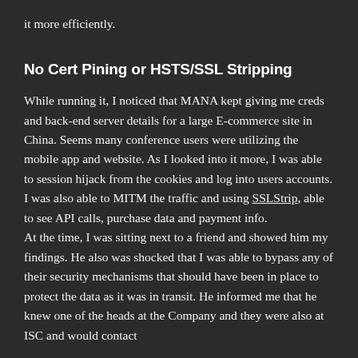it more efficiently.
No Cert Pining or HSTS/SSL Stripping
While running it, I noticed that MANA kept giving me creds and back-end server details for a large E-commerce site in China. Seems many conference users were utilizing the mobile app and website. As I looked into it more, I was able to session hijack from the cookies and log into users accounts. I was also able to MITM the traffic and using SSLStrip, able to see API calls, purchase data and payment info.
At the time, I was sitting next to a friend and showed him my findings. He also was shocked that I was able to bypass any of their security mechanisms that should have been in place to protect the data as it was in transit. He informed me that he knew one of the heads at the Company and they were also at ISC and would contact